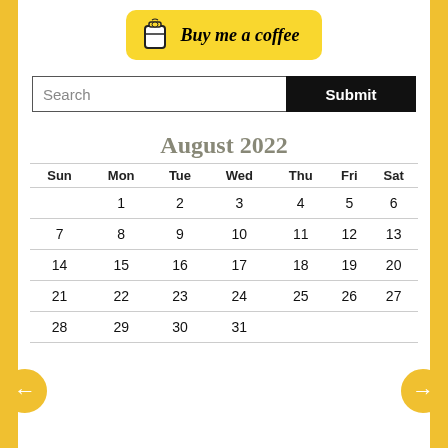[Figure (logo): Buy me a coffee button with coffee cup icon on yellow rounded rectangle background]
[Figure (other): Search input field with Submit button]
August 2022
| Sun | Mon | Tue | Wed | Thu | Fri | Sat |
| --- | --- | --- | --- | --- | --- | --- |
|  | 1 | 2 | 3 | 4 | 5 | 6 |
| 7 | 8 | 9 | 10 | 11 | 12 | 13 |
| 14 | 15 | 16 | 17 | 18 | 19 | 20 |
| 21 | 22 | 23 | 24 | 25 | 26 | 27 |
| 28 | 29 | 30 | 31 |  |  |  |